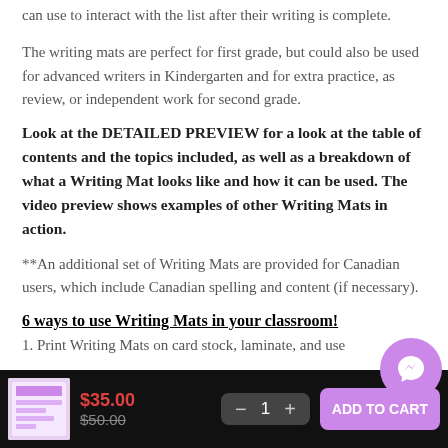can use to interact with the list after their writing is complete.
The writing mats are perfect for first grade, but could also be used for advanced writers in Kindergarten and for extra practice, as review, or independent work for second grade.
Look at the DETAILED PREVIEW for a look at the table of contents and the topics included, as well as a breakdown of what a Writing Mat looks like and how it can be used. The video preview shows examples of other Writing Mats in action.
**An additional set of Writing Mats are provided for Canadian users, which include Canadian spelling and content (if necessary).
6 ways to use Writing Mats in your classroom!
1. Print Writing Mats on card stock, laminate, and use
$35.00
$50.00